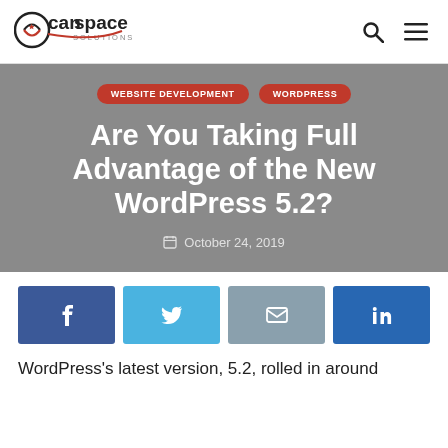CanSpace Solutions
[Figure (screenshot): Hero section with gray background, two red pill-shaped category tags reading WEBSITE DEVELOPMENT and WORDPRESS, large white bold title text, and date]
Are You Taking Full Advantage of the New WordPress 5.2?
October 24, 2019
[Figure (infographic): Social share buttons row: Facebook (dark blue), Twitter (light blue), Email (gray-blue), LinkedIn (dark blue)]
WordPress's latest version, 5.2, rolled in around